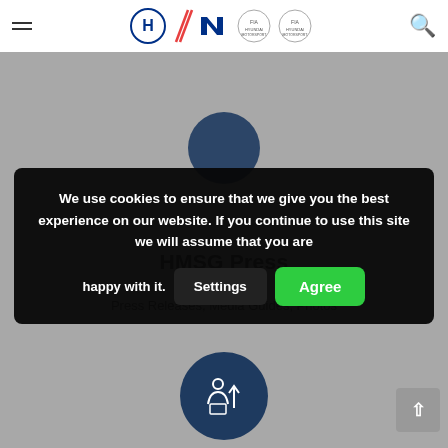Hyundai Motorsport N navigation header with hamburger menu, logos, and search icon
[Figure (screenshot): Hyundai Motorsport website background with gray overlay, blue circular icon partially visible at top, HMSG Press section with title and subtitle]
We use cookies to ensure that we give you the best experience on our website. If you continue to use this site we will assume that you are happy with it.
Settings
Agree
HMSG Press
Press Releases, Media Guides, Photos